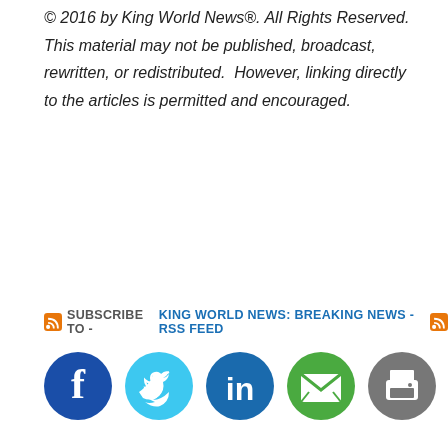© 2016 by King World News®. All Rights Reserved. This material may not be published, broadcast, rewritten, or redistributed.  However, linking directly to the articles is permitted and encouraged.
SUBSCRIBE TO - KING WORLD NEWS: BREAKING NEWS - RSS FEED
[Figure (other): Social media sharing icons: Facebook, Twitter, LinkedIn, Email, Print]
RELATED ARTICLES
[Figure (photo): Gold bar labeled FINE GOLD 999.9 on a background of silver bars/keyboard keys]
[Figure (photo): Golden-toned face of a woman with hands raised to cheeks]